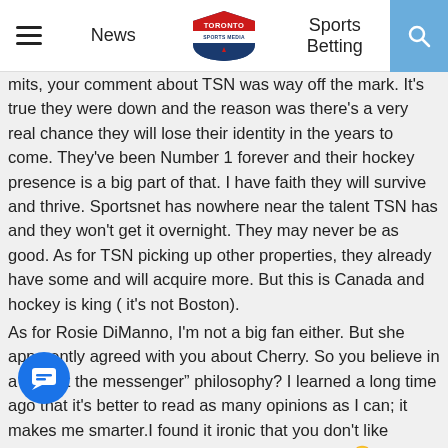News | Toronto Sports Media | Sports Betting
mits, your comment about TSN was way off the mark. It's true they were down and the reason was there's a very real chance they will lose their identity in the years to come. They've been Number 1 forever and their hockey presence is a big part of that. I have faith they will survive and thrive. Sportsnet has nowhere near the talent TSN has and they won't get it overnight. They may never be as good. As for TSN picking up other properties, they already have some and will acquire more. But this is Canada and hockey is king ( it's not Boston).
As for Rosie DiManno, I'm not a big fan either. But she apparently agreed with you about Cherry. So you believe in a “Shoot the messenger” philosophy? I learned a long time ago that it's better to read as many opinions as I can; it makes me smarter.I found it ironic that you don't like Cherry's biased views, but your Rosie bias was okay.
In ng, have you ever been to Buffalo? Of course WGR has a beer. I've heard them many times berate ownership for doing what they did. If the Patriots had a similar situation with ....